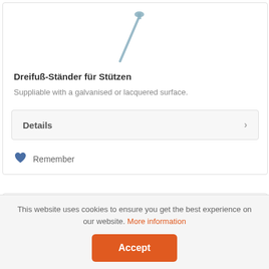[Figure (photo): Partial image of a Dreifuß-Ständer (tripod stand for props/supports), showing a metallic pole with a small bell-shaped top, in a steel/zinc grey color.]
Dreifuß-Ständer für Stützen
Suppliable with a galvanised or lacquered surface.
Details
Remember
This website uses cookies to ensure you get the best experience on our website. More information
Accept